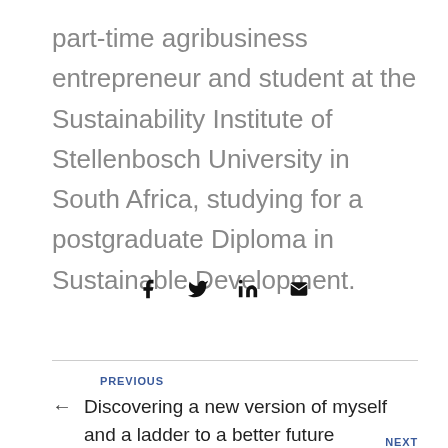part-time agribusiness entrepreneur and student at the Sustainability Institute of Stellenbosch University in South Africa, studying for a postgraduate Diploma in Sustainable Development.
[Figure (other): Social sharing icons: Facebook, Twitter, LinkedIn, Email]
PREVIOUS
← Discovering a new version of myself and a ladder to a better future
NEXT